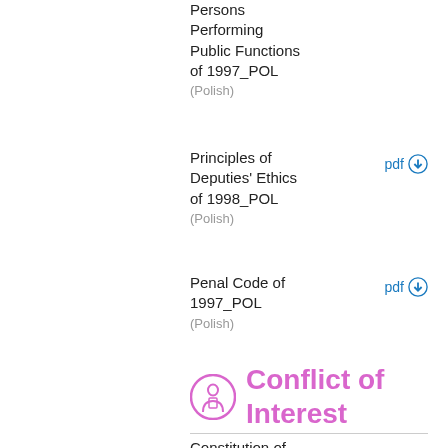Persons Performing Public Functions of 1997_POL
(Polish)
Principles of Deputies' Ethics of 1998_POL
(Polish)
Penal Code of 1997_POL
(Polish)
Conflict of Interest
Constitution of the Republic of